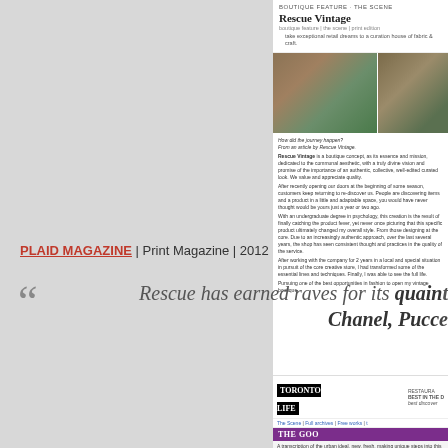BOUTIQUE FEATURE · THE SCENE
Rescue Vintage
Boutique Feature | The Scene | Print Edition
[Figure (photo): Interior photos of Rescue Vintage boutique showing clothing racks with colorful garments]
How did the journey happen?
From an article by Rescue Vintage.
Rescue Vintage is a boutique concept, as its essence and mission, dedicated to the communal aesthetic, with a truly divine vision and promise of the importance of an authentic, collective, well-edited curated look. We value and appreciate quality.
PLAID MAGAZINE | Print Magazine | 2012
Rescue has earned raves for its quaint... Chanel, Pucc...
[Figure (screenshot): Screenshot of Toronto Life magazine website showing a vintage store update article]
Vintage store updates: Chosen boutique officially opens
A couple of updates for the vintage store scene around town. First off Chosen Black. Also Richesse Bell's second floor vintage shop on Ossington Blvd. has joined the property and the space will house artist Meira. The Toronto report from yesterday adds an aside. As store to assure that your shelf enough state for some other spots of each aside to add more to be an official enterprise spring feature boutique from...